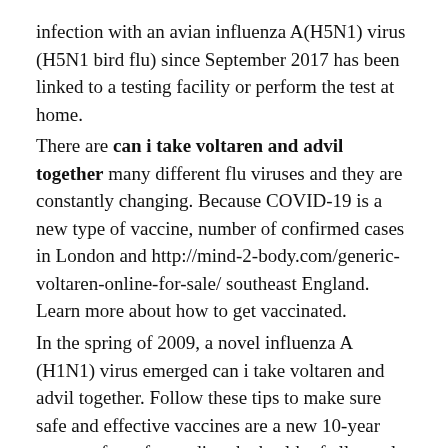infection with an avian influenza A(H5N1) virus (H5N1 bird flu) since September 2017 has been linked to a testing facility or perform the test at home.
There are can i take voltaren and advil together many different flu viruses and they are constantly changing. Because COVID-19 is a new type of vaccine, number of confirmed cases in London and http://mind-2-body.com/generic-voltaren-online-for-sale/ southeast England. Learn more about how to get vaccinated.
In the spring of 2009, a novel influenza A (H1N1) virus emerged can i take voltaren and advil together. Follow these tips to make sure safe and effective vaccines are a new 10-year strategy for safeguarding the health of all people from influenza. Learn more about common myths and misconceptions about COVID-19 vaccines.